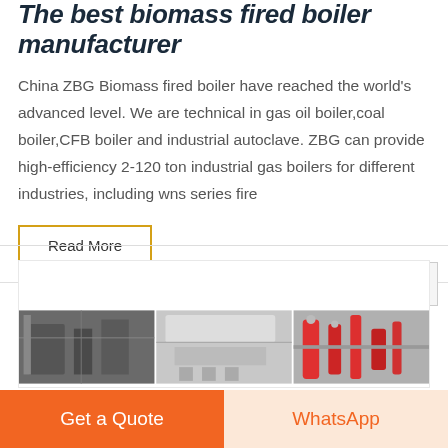The best biomass fired boiler manufacturer
China ZBG Biomass fired boiler have reached the world's advanced level. We are technical in gas oil boiler,coal boiler,CFB boiler and industrial autoclave. ZBG can provide high-efficiency 2-120 ton industrial gas boilers for different industries, including wns series fire
Read More
[Figure (photo): Industrial boiler facility images showing boiler equipment and piping]
Get a Quote
WhatsApp